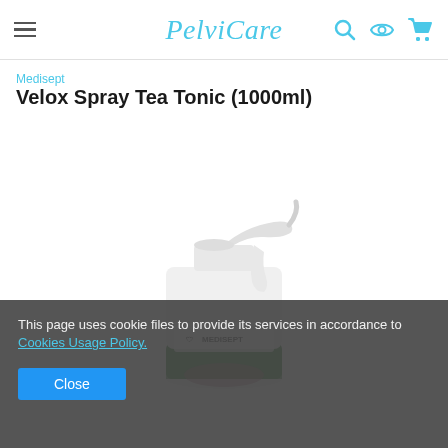PelviCare
Medisept
Velox Spray Tea Tonic (1000ml)
[Figure (photo): White plastic spray bottle with MEDISEPT label and green bottom section, product Velox Spray Tea Tonic]
This page uses cookie files to provide its services in accordance to Cookies Usage Policy.
Close